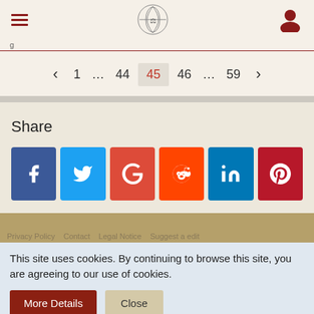Navigation header with hamburger menu, site logo, and user icon
< 1 … 44 45 46 … 59 >
Share
[Figure (infographic): Share buttons row: Facebook (blue), Twitter (light blue), Google+ (red), Reddit (orange-red), LinkedIn (blue), Pinterest (dark red)]
Privacy Policy   Contact   Legal Notice   Suggest a edit
This site uses cookies. By continuing to browse this site, you are agreeing to our use of cookies.